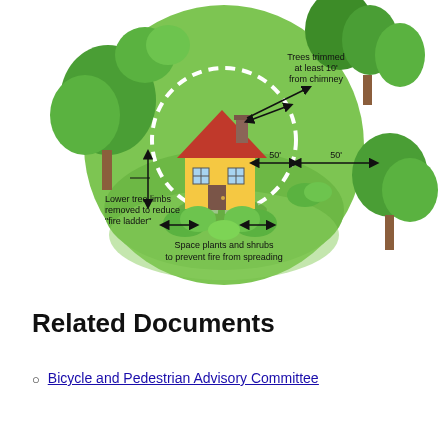[Figure (infographic): Circular green infographic showing a house in the center with a dashed circle around it. Labels indicate: 'Trees trimmed at least 10' from chimney' with arrow pointing to chimney area; '50'' measurements shown on either side of the house; 'Lower tree limbs removed to reduce "fire ladder"' with vertical arrow; 'Space plants and shrubs to prevent fire from spreading' with horizontal arrows between shrubs. Trees and vegetation surround the circle.]
Related Documents
Bicycle and Pedestrian Advisory Committee